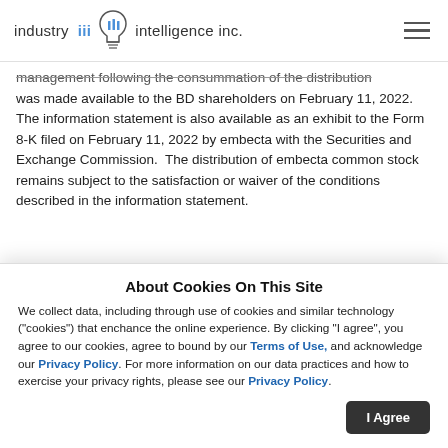industry iii intelligence inc.
management following the consummation of the distribution was made available to the BD shareholders on February 11, 2022.  The information statement is also available as an exhibit to the Form 8-K filed on February 11, 2022 by embecta with the Securities and Exchange Commission.  The distribution of embecta common stock remains subject to the satisfaction or waiver of the conditions described in the information statement.
Tax-Free Status of Transaction
BD has received a private letter ruling from the Internal Revenue...
About Cookies On This Site
We collect data, including through use of cookies and similar technology ("cookies") that enchance the online experience. By clicking "I agree", you agree to our cookies, agree to bound by our Terms of Use, and acknowledge our Privacy Policy. For more information on our data practices and how to exercise your privacy rights, please see our Privacy Policy.